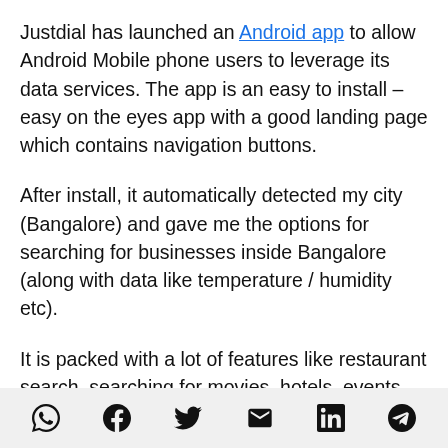Justdial has launched an Android app to allow Android Mobile phone users to leverage its data services. The app is an easy to install – easy on the eyes app with a good landing page which contains navigation buttons.
After install, it automatically detected my city (Bangalore) and gave me the options for searching for businesses inside Bangalore (along with data like temperature / humidity etc).
It is packed with a lot of features like restaurant search, searching for movies, hotels, events, ATMs
Social share icons: WhatsApp, Facebook, Twitter, Email, LinkedIn, Telegram